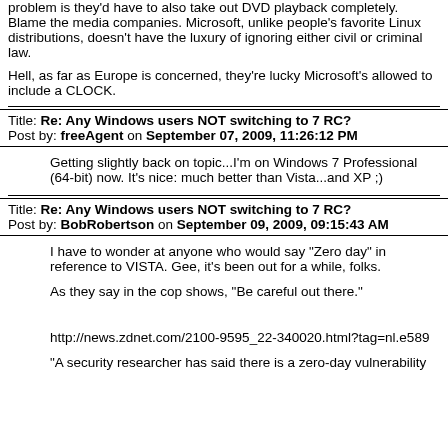problem is they'd have to also take out DVD playback completely.  Blame the media companies.  Microsoft, unlike people's favorite Linux distributions, doesn't have the luxury of ignoring either civil or criminal law.

Hell, as far as Europe is concerned, they're lucky Microsoft's allowed to include a CLOCK.
Title: Re: Any Windows users NOT switching to 7 RC?
Post by: freeAgent on September 07, 2009, 11:26:12 PM
Getting slightly back on topic...I'm on Windows 7 Professional (64-bit) now.  It's nice:  much better than Vista...and XP ;)
Title: Re: Any Windows users NOT switching to 7 RC?
Post by: BobRobertson on September 09, 2009, 09:15:43 AM
I have to wonder at anyone who would say "Zero day" in reference to VISTA. Gee, it's been out for a while, folks.

As they say in the cop shows, "Be careful out there."

http://news.zdnet.com/2100-9595_22-340020.html?tag=nl.e589

"A security researcher has said there is a zero-day vulnerability